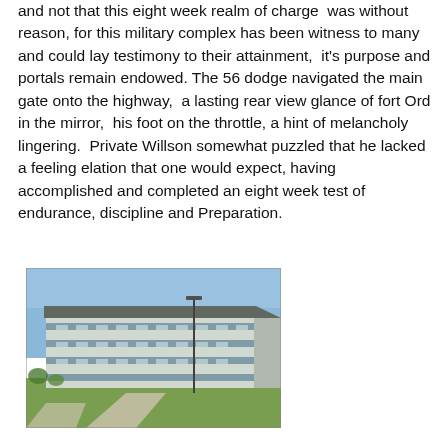and not that this eight week realm of charge  was without reason, for this military complex has been witness to many and could lay testimony to their attainment,  it's purpose and portals remain endowed. The 56 dodge navigated the main gate onto the highway,  a lasting rear view glance of fort Ord in the mirror,  his foot on the throttle, a hint of melancholy lingering.  Private Willson somewhat puzzled that he lacked a feeling elation that one would expect, having accomplished and completed an eight week test of endurance, discipline and Preparation.
[Figure (photo): Photograph of a large multi-story military barracks building at Fort Ord, with blue-grey horizontal stripe detailing, a tall light pole, green lawn in the foreground, and clear blue sky in the background.]